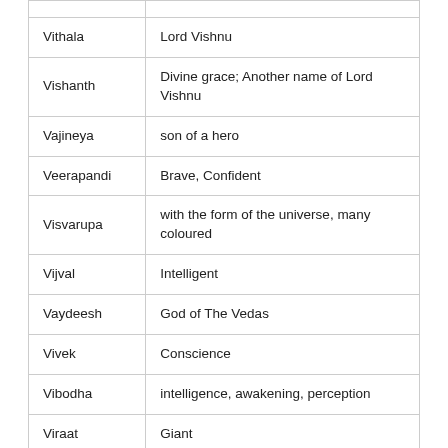| Name | Meaning |
| --- | --- |
| Vithala | Lord Vishnu |
| Vishanth | Divine grace; Another name of Lord Vishnu |
| Vajineya | son of a hero |
| Veerapandi | Brave, Confident |
| Visvarupa | with the form of the universe, many coloured |
| Vijval | Intelligent |
| Vaydeesh | God of The Vedas |
| Vivek | Conscience |
| Vibodha | intelligence, awakening, perception |
| Viraat | Giant |